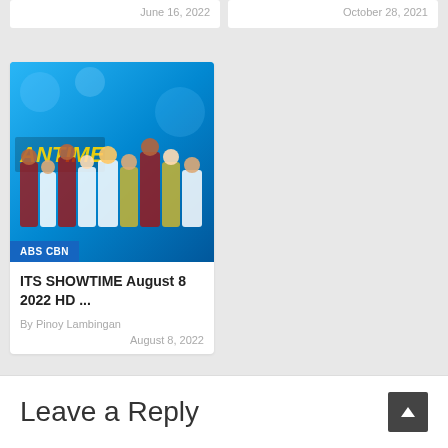June 16, 2022
October 28, 2021
[Figure (photo): Its Showtime TV show promotional image with cast members posing in front of a blue background with the Showtime logo]
ABS CBN
ITS SHOWTIME August 8 2022 HD ...
By Pinoy Lambingan
August 8, 2022
Leave a Reply